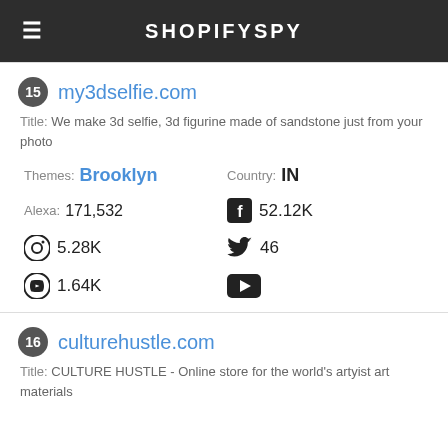SHOPIFYSPY
15 my3dselfie.com - Title: We make 3d selfie, 3d figurine made of sandstone just from your photo. Themes: Brooklyn. Country: IN. Alexa: 171,532. Facebook: 52.12K. Instagram: 5.28K. Twitter: 46. Pinterest: 1.64K. YouTube.
16 culturehustle.com - Title: CULTURE HUSTLE - Online store for the world's artyist art materials